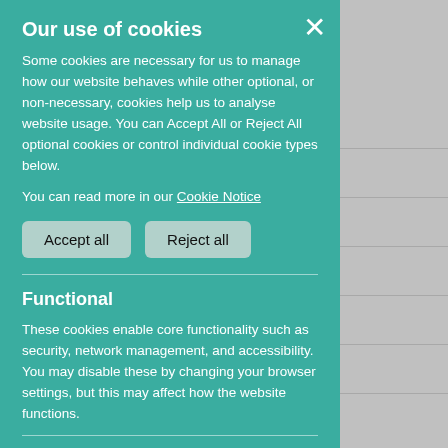Our use of cookies
Some cookies are necessary for us to manage how our website behaves while other optional, or non-necessary, cookies help us to analyse website usage. You can Accept All or Reject All optional cookies or control individual cookie types below.
You can read more in our Cookie Notice
Accept all   Reject all
Functional
These cookies enable core functionality such as security, network management, and accessibility. You may disable these by changing your browser settings, but this may affect how the website functions.
Analytics cookies
Analytical cookies help us to improve our website by collecting and reporting information on its usage.